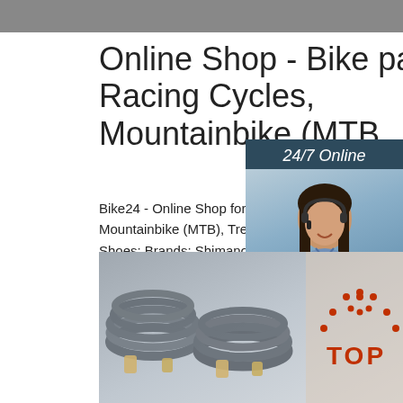[Figure (photo): Dark gray banner image at top of page]
Online Shop - Bike parts, Racing Cycles, Mountainbike (MTB ...
Bike24 - Online Shop for Bike parts, Road Racing, Mountainbike (MTB), Trekking, Bike Wear & Shoes; Brands: Shimano, Campagnolo, Specialized, Nalini und Pearl Izumi
[Figure (photo): 24/7 Online chat sidebar with woman wearing headset. Includes 'Click here for free chat!' and orange QUOTATION button.]
[Figure (other): Get Price button — green rectangle]
[Figure (photo): Bottom image showing coiled wire/cable products with TOP logo overlay]